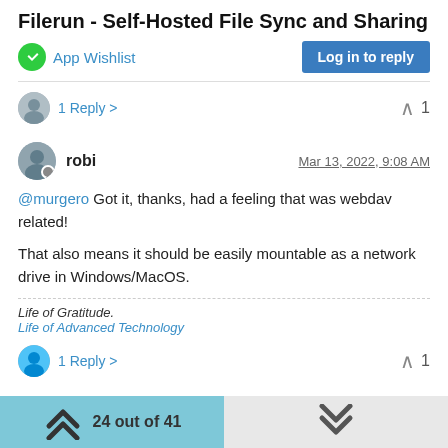Filerun - Self-Hosted File Sync and Sharing
App Wishlist
Log in to reply
1 Reply >  ∧  1
robi  Mar 13, 2022, 9:08 AM
@murgero Got it, thanks, had a feeling that was webdav related!

That also means it should be easily mountable as a network drive in Windows/MacOS.
Life of Gratitude.
Life of Advanced Technology
1 Reply >  ∧  1
24 out of 41